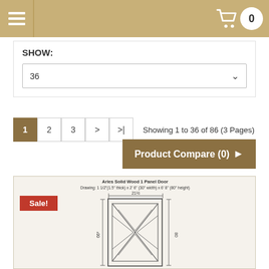Navigation header with menu icon and cart (0)
SHOW:
36
1  2  3  >  >|  Showing 1 to 36 of 86 (3 Pages)
Product Compare (0) >
[Figure (engineering-diagram): Aries Solid Wood 1 Panel Door engineering drawing showing front view with X-pattern panel design. Drawing: 1 1/2"(1.5" thick) x 2' 6" (30" width) x 6' 8" (80" height). Shows dimensions 21.5 width and 66 height markings.]
Aries Solid Wood 1 Panel Door
Drawing: 1 1/2"(1.5" thick) x 2' 6" (30" width) x 6' 8" (80" height)
Sale!